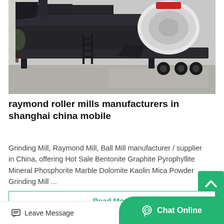[Figure (photo): Mobile heavy industrial machine (mobile crushing/milling plant) on a trailer with large cylindrical drum, metal framework, ladder and wheels, parked outdoors on concrete]
raymond roller mills manufacturers in shanghai china mobile
Grinding Mill, Raymond Mill, Ball Mill manufacturer / supplier in China, offering Hot Sale Bentonite Graphite Pyrophyllite Mineral Phosphorite Marble Dolomite Kaolin Mica Powder Grinding Mill ...